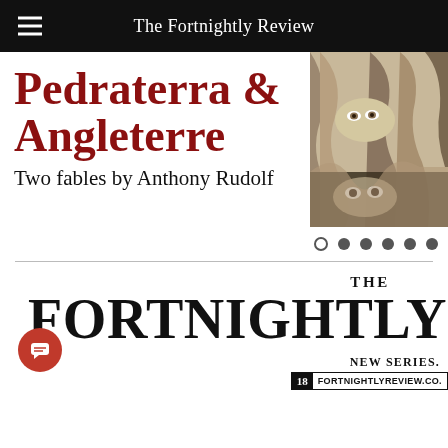The Fortnightly Review
Pedraterra & Angleterre
Two fables by Anthony Rudolf
[Figure (illustration): Painting of a face partially hidden behind draped fabric, with expressive eyes]
THE
FORTNIGHTLY
NEW SERIES.
18 FORTNIGHTLYREVIEW.CO.